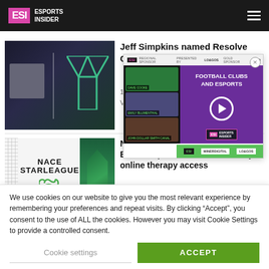ESI Esports Insider
[Figure (screenshot): Article thumbnail showing a person and a gaming logo on dark background]
Jeff Simpkins named Resolve COO
1 Sep
Victo
[Figure (screenshot): Video overlay showing Football Clubs and Esports panel discussion with purple background and green play button]
[Figure (screenshot): Article thumbnail showing NACE StarLeague and BetterHelp logos with green figure background]
NACE StarLeague partners with BetterHelp to offer its community online therapy access
1 September 2022
Jake Nordland
We use cookies on our website to give you the most relevant experience by remembering your preferences and repeat visits. By clicking “Accept”, you consent to the use of ALL the cookies. However you may visit Cookie Settings to provide a controlled consent.
Cookie settings
ACCEPT